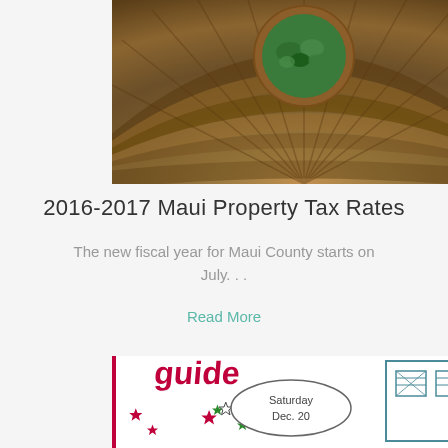[Figure (photo): Aerial or overhead view of a circular window/skylight set in wooden shingle roofing with green foliage visible through the round opening]
2016-2017 Maui Property Tax Rates
The new fiscal year for Maui County starts on July. . .
Read More
[Figure (illustration): Illustrated event flyer showing 'Saturday Dec. 20' in an oval, stars, 'SHOP', 'EAT', and text 'Join us in Paia for a festive night of shopping and...' with cartoon building illustrations]